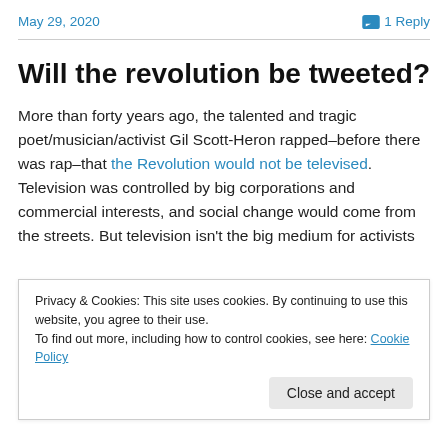May 29, 2020    💬 1 Reply
Will the revolution be tweeted?
More than forty years ago, the talented and tragic poet/musician/activist Gil Scott-Heron rapped–before there was rap–that the Revolution would not be televised. Television was controlled by big corporations and commercial interests, and social change would come from the streets. But television isn't the big medium for activists
Privacy & Cookies: This site uses cookies. By continuing to use this website, you agree to their use.
To find out more, including how to control cookies, see here: Cookie Policy